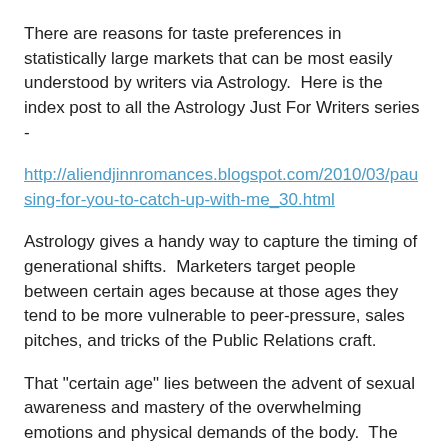There are reasons for taste preferences in statistically large markets that can be most easily understood by writers via Astrology.  Here is the index post to all the Astrology Just For Writers series -
http://aliendjinnromances.blogspot.com/2010/03/pausing-for-you-to-catch-up-with-me_30.html
Astrology gives a handy way to capture the timing of generational shifts.  Marketers target people between certain ages because at those ages they tend to be more vulnerable to peer-pressure, sales pitches, and tricks of the Public Relations craft.
That "certain age" lies between the advent of sexual awareness and mastery of the overwhelming emotions and physical demands of the body.  The demographic centers around about age 18, but spreads from 13 to 35, with decreasing gullibility after age 30 (after the first Saturn Return when Saturn (discipline) has been full experienced and internalized.